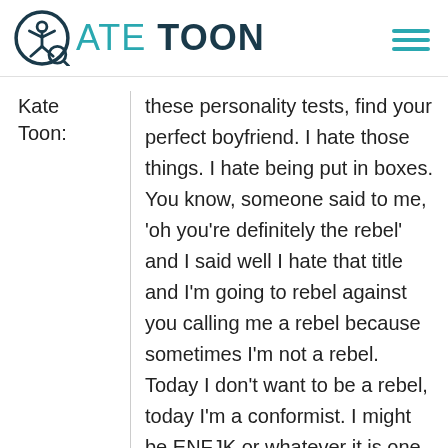Kate Toon
Kate Toon:
these personality tests, find your perfect boyfriend. I hate those things. I hate being put in boxes. You know, someone said to me, 'oh you're definitely the rebel' and I said well I hate that title and I'm going to rebel against you calling me a rebel because sometimes I'm not a rebel. Today I don't want to be a rebel, today I'm a conformist. I might be ENFJK or whatever it is one day and then I might be